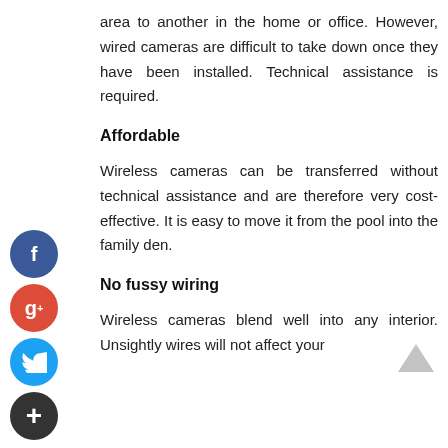area to another in the home or office. However, wired cameras are difficult to take down once they have been installed. Technical assistance is required.
Affordable
Wireless cameras can be transferred without technical assistance and are therefore very cost-effective. It is easy to move it from the pool into the family den.
No fussy wiring
Wireless cameras blend well into any interior. Unsightly wires will not affect your